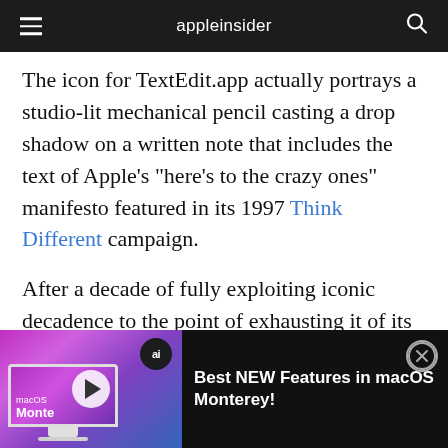appleinsider
The icon for TextEdit.app actually portrays a studio-lit mechanical pencil casting a drop shadow on a written note that includes the text of Apple's "here's to the crazy ones" manifesto featured in its 1997 Think Different campaign.
After a decade of fully exploiting iconic decadence to the point of exhausting it of its novelty, Apple is now pursuing a new direction where app icons return to being the expertly
[Figure (screenshot): Advertisement bar showing macOS Monterey promotional video thumbnail with play button, ai badge, and text 'Best NEW Features in macOS Monterey!' with close button]